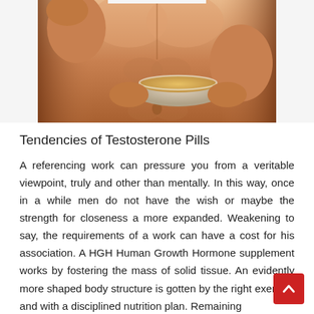[Figure (photo): Muscular shirtless man holding a glass bowl of food, cropped to show torso only]
Tendencies of Testosterone Pills
A referencing work can pressure you from a veritable viewpoint, truly and other than mentally. In this way, once in a while men do not have the wish or maybe the strength for closeness a more expanded. Weakening to say, the requirements of a work can have a cost for his association. A HGH Human Growth Hormone supplement works by fostering the mass of solid tissue. An evidently more shaped body structure is gotten by the right exercise and with a disciplined nutrition plan. Remaining and